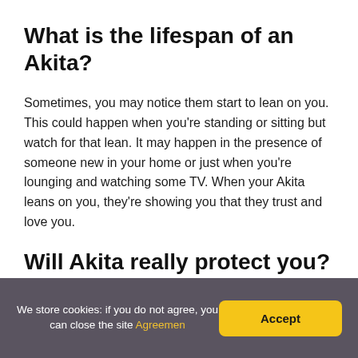What is the lifespan of an Akita?
Sometimes, you may notice them start to lean on you. This could happen when you're standing or sitting but watch for that lean. It may happen in the presence of someone new in your home or just when you're lounging and watching some TV. When your Akita leans on you, they're showing you that they trust and love you.
Will Akita really protect you?
We store cookies: if you do not agree, you can close the site Agreement  Accept